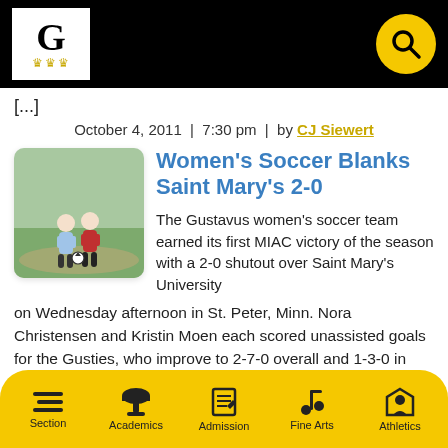Gustavus Adolphus College — header with logo and search
[...]
October 4, 2011  |  7:30 pm  |  by CJ Siewert
[Figure (photo): Two women soccer players on a field, one in light blue and one in red, competing for the ball]
Women's Soccer Blanks Saint Mary's 2-0
The Gustavus women's soccer team earned its first MIAC victory of the season with a 2-0 shutout over Saint Mary's University on Wednesday afternoon in St. Peter, Minn. Nora Christensen and Kristin Moen each scored unassisted goals for the Gusties, who improve to 2-7-0 overall and 1-3-0 in MIAC play. Thirty-four minutes of scoreless
Section | Academics | Admission | Fine Arts | Athletics